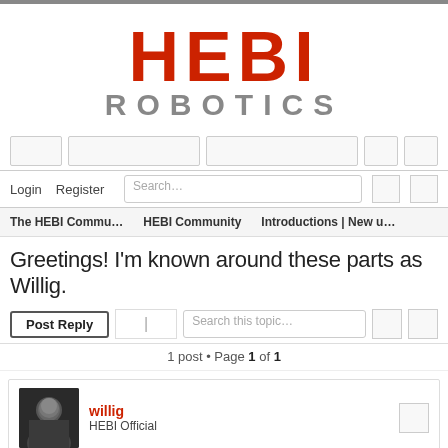[Figure (logo): HEBI Robotics logo — HEBI in large red bold text, ROBOTICS in large gray bold text below]
Login   Register   Search...
The HEBI Commu...   HEBI Community   Introductions | New u...
Greetings! I'm known around these parts as Willig.
Post Reply   Search this topic...
1 post • Page 1 of 1
willig
HEBI Official
Greetings! I'm known around these parts as Willig.
Fri Mar 27, 2020 5:26 pm